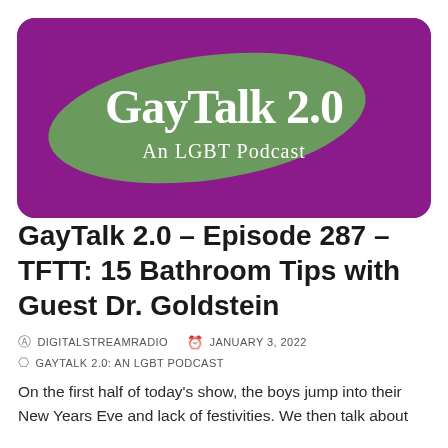[Figure (logo): GayTalk 2.0 An LGBT Podcast logo — white and green text on a purple/magenta background with a green swoosh shape]
GayTalk 2.0 – Episode 287 – TFTT: 15 Bathroom Tips with Guest Dr. Goldstein
DIGITALSTREAMRADIO   JANUARY 3, 2022
GAYTALK 2.0: AN LGBT PODCAST
On the first half of today's show, the boys jump into their New Years Eve and lack of festivities. We then talk about